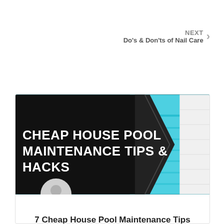NEXT
Do's & Don'ts of Nail Care
[Figure (photo): Article card image showing a swimming pool with dark hexagonal/chevron graphic overlay reading 'CHEAP HOUSE POOL MAINTENANCE TIPS & HACKS' in bold white text, with a circular user avatar at the bottom left]
7 Cheap House Pool Maintenance Tips